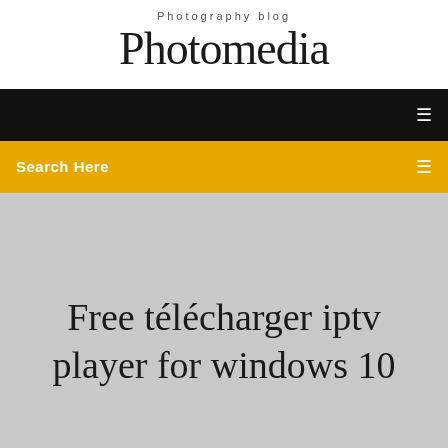Photography blog
Photomedia
[Figure (screenshot): Black navigation bar with white hamburger/menu icon on the right]
[Figure (screenshot): Yellow/amber search bar with 'Search Here' label on left and search icon on right]
Free télécharger iptv player for windows 10